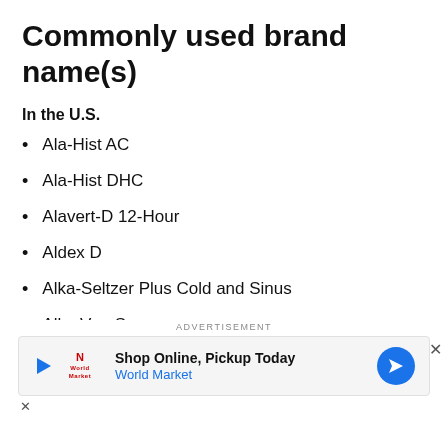Commonly used brand name(s)
In the U.S.
Ala-Hist AC
Ala-Hist DHC
Alavert-D 12-Hour
Aldex D
Alka-Seltzer Plus Cold and Sinus
AllanVan-S
Allegra
[Figure (infographic): Advertisement banner: Shop Online, Pickup Today - World Market, with navigation arrow icon]